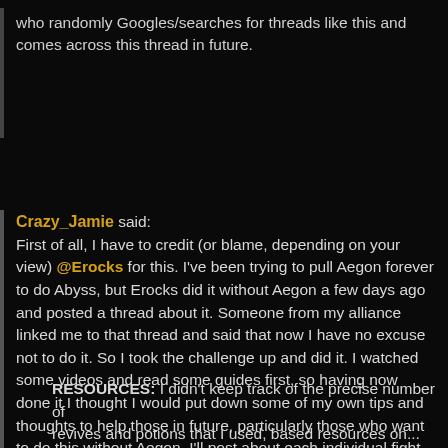who randomly Googles/searches for threads like this and comes across this thread in future.
Crazy_Jamie said:
First of all, I have to credit (or blame, depending on your view) @Erocks for this. I've been trying to pull Aegon forever to do Abyss, but Erocks did it without Aegon a few days ago and posted a thread about it. Someone from my alliance linked me to that thread and said that now I have no excuse not to do it. So I took the challenge up and did it. I watched some videos and read some guides first, so having now done it I thought I would put down some of my own tips and thoughts to help those in future, particularly those who want to do this without Aegon. I'll post about each individual fight on the easy path, but first some general points.
RESOURCES: I didn't keep track of the precise number of revives and potions that I used, based resources on...